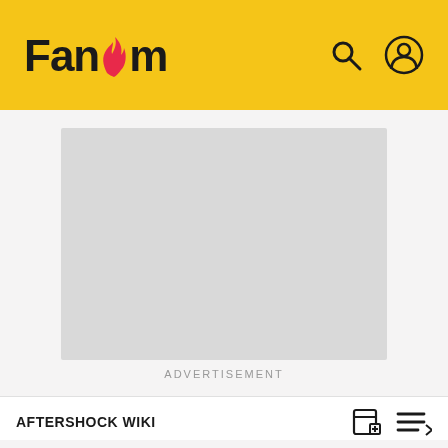Fandom
[Figure (other): Gray advertisement placeholder rectangle]
ADVERTISEMENT
AFTERSHOCK WIKI
List of known bugs
EDIT